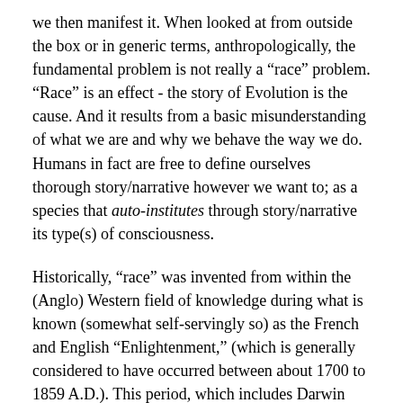we then manifest it. When looked at from outside the box or in generic terms, anthropologically, the fundamental problem is not really a “race” problem. “Race” is an effect - the story of Evolution is the cause. And it results from a basic misunderstanding of what we are and why we behave the way we do. Humans in fact are free to define ourselves thorough story/narrative however we want to; as a species that auto-institutes through story/narrative its type(s) of consciousness.
Historically, “race” was invented from within the (Anglo) Western field of knowledge during what is known (somewhat self-servingly so) as the French and English “Enlightenment,” (which is generally considered to have occurred between about 1700 to 1859 A.D.). This period, which includes Darwin (who inscribed the origin story of Evolution in his The Descent of Man in 1859), finished off the West’s